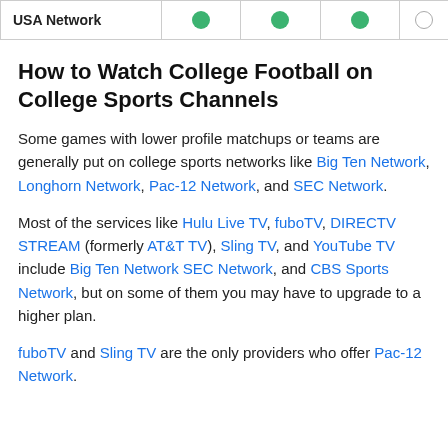| USA Network |  |  |  |  |
| --- | --- | --- | --- | --- |
| USA Network | ● | ● | ● | ○ |
How to Watch College Football on College Sports Channels
Some games with lower profile matchups or teams are generally put on college sports networks like Big Ten Network, Longhorn Network, Pac-12 Network, and SEC Network.
Most of the services like Hulu Live TV, fuboTV, DIRECTV STREAM (formerly AT&T TV), Sling TV, and YouTube TV include Big Ten Network SEC Network, and CBS Sports Network, but on some of them you may have to upgrade to a higher plan.
fuboTV and Sling TV are the only providers who offer Pac-12 Network.